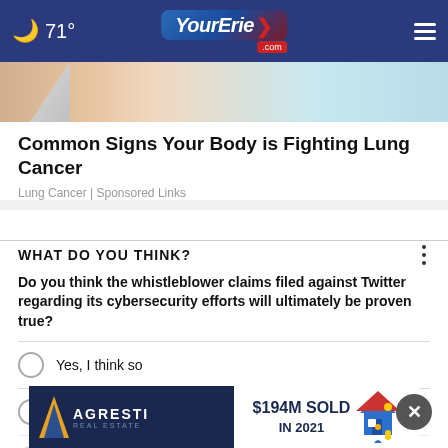71° YourErie.com
[Figure (photo): Partial view of a healthcare/medical illustration used as an article banner image]
Common Signs Your Body is Fighting Lung Cancer
Lung Cancer | Sponsored Links
WHAT DO YOU THINK?
Do you think the whistleblower claims filed against Twitter regarding its cybersecurity efforts will ultimately be proven true?
Yes, I think so
Maybe, I'm not usre
[Figure (advertisement): Agresti Real Estate ad: $194M SOLD IN 2021 with house mascot]